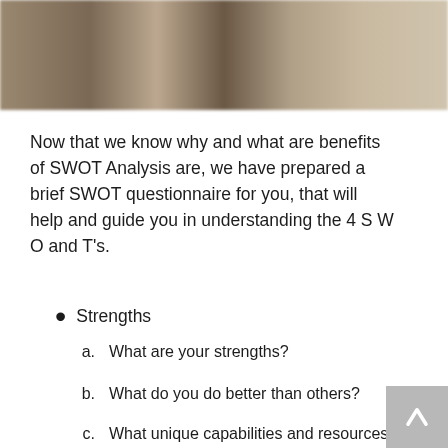[Figure (photo): Blurred banner photo strip showing people, used as decorative header image]
Now that we know why and what are benefits of SWOT Analysis are, we have prepared a brief SWOT questionnaire for you, that will help and guide you in understanding the 4 S W O and T's.
Strengths
a.    What are your strengths?
b.    What do you do better than others?
c.    What unique capabilities and resources do you possess?